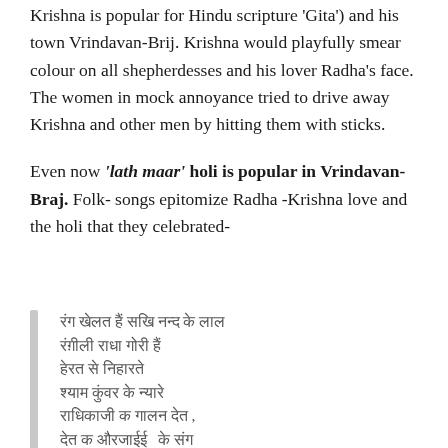Krishna is popular for Hindu scripture 'Gita') and his town Vrindavan-Brij. Krishna would playfully smear colour on all shepherdesses and his lover Radha's face. The women in mock annoyance tried to drive away Krishna and other men by hitting them with sticks.
Even now 'lath maar' holi is popular in Vrindavan-Braj. Folk- songs epitomize Radha -Krishna love and the holi that they celebrated-
[Hindi/Devanagari script blockquote text - folk song about Radha-Krishna holi]